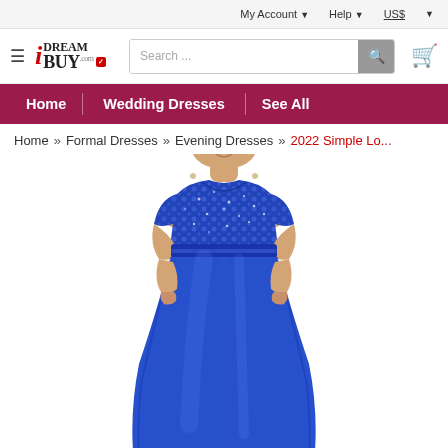My Account ▾   Help ▾   US$ ▾
[Figure (logo): iDreamBuy.com logo with hamburger menu, search bar, and cart icon]
Home | Wedding Dresses | See All
Home » Formal Dresses » Evening Dresses » 2022 Simple Lo...
[Figure (photo): Woman wearing a royal blue long evening dress with sequin lace bodice and short sleeves, satin skirt, smiling, cropped at shoulders]